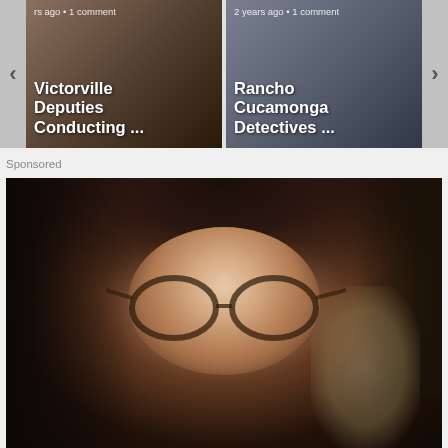[Figure (screenshot): News carousel with two cards. Left card: 'Victorville Deputies Conducting ...' with meta 'rs ago · 1 comment'. Right card: 'Rancho Cucamonga Detectives ...' with meta '2 years ago · 1 comment'. Navigation arrows on both sides.]
Sponsored
[Figure (photo): Portrait photo of a young woman with long wavy brown hair and dark-framed glasses, resting her chin on her hands, photographed in a dark, moody indoor setting.]